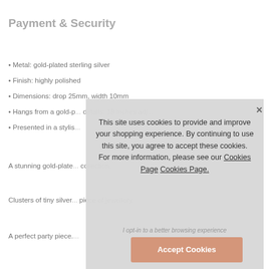Payment & Security
• Metal: gold-plated sterling silver
• Finish: highly polished
• Dimensions: drop 25mm, width 10mm
• Hangs from a gold-p... details: 18 inches adj...
• Presented in a stylis...
A stunning gold-plate... collection.
Clusters of tiny silver... piece of jewellery.
A perfect party piece.
This site uses cookies to provide and improve your shopping experience. By continuing to use this site, you agree to accept these cookies. For more information, please see our Cookies Page Cookies Page.
I opt-in to a better browsing experience
Accept Cookies